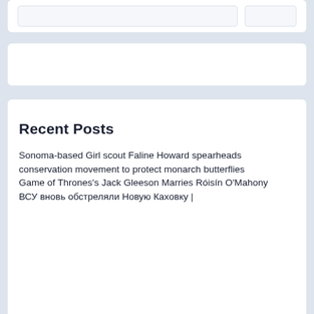Recent Posts
Sonoma-based Girl scout Faline Howard spearheads conservation movement to protect monarch butterflies
Game of Thrones's Jack Gleeson Marries Róisín O'Mahony
ВСУ вновь обстреляли Новую Каховку |